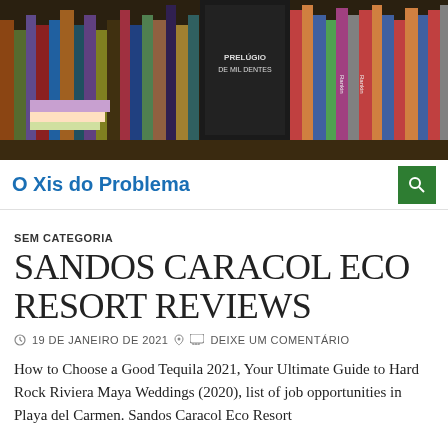[Figure (photo): Photo of bookshelves filled with colorful books, showing spines of many books arranged closely together.]
O Xis do Problema
SEM CATEGORIA
SANDOS CARACOL ECO RESORT REVIEWS
19 DE JANEIRO DE 2021   DEIXE UM COMENTÁRIO
How to Choose a Good Tequila 2021, Your Ultimate Guide to Hard Rock Riviera Maya Weddings (2020), list of job opportunities in Playa del Carmen. Sandos Caracol Eco Resort